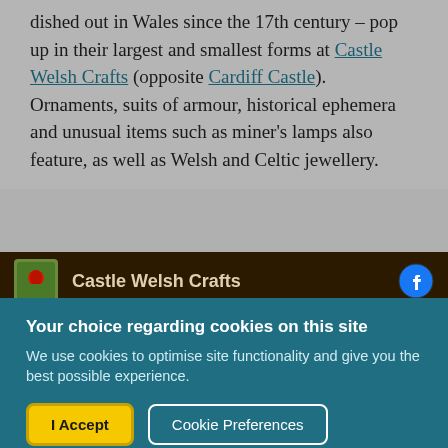dished out in Wales since the 17th century – pop up in their largest and smallest forms at Castle Welsh Crafts (opposite Cardiff Castle). Ornaments, suits of armour, historical ephemera and unusual items such as miner's lamps also feature, as well as Welsh and Celtic jewellery.
[Figure (screenshot): Facebook page banner for Castle Welsh Crafts showing a dark brown background with the shop logo on the left, the name 'Castle Welsh Crafts' in the center, and a Facebook icon on the right.]
Your choice regarding cookies on this site
We use cookies to optimise site functionality and give you the best possible experience.